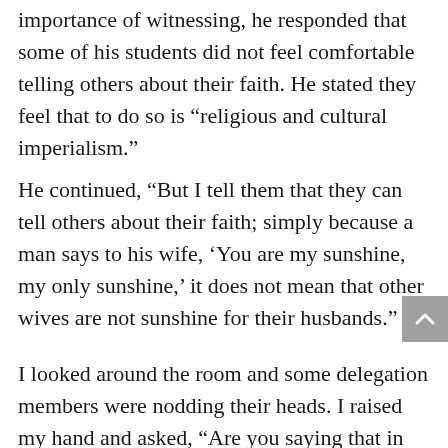importance of witnessing, he responded that some of his students did not feel comfortable telling others about their faith. He stated they feel that to do so is “religious and cultural imperialism.”
He continued, “But I tell them that they can tell others about their faith; simply because a man says to his wife, ‘You are my sunshine, my only sunshine,’ it does not mean that other wives are not sunshine for their husbands.”
I looked around the room and some delegation members were nodding their heads. I raised my hand and asked, “Are you saying that in the same way Jesus brings light and truth into our lives, other